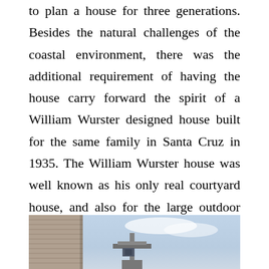to plan a house for three generations. Besides the natural challenges of the coastal environment, there was the additional requirement of having the house carry forward the spirit of a William Wurster designed house built for the same family in Santa Cruz in 1935. The William Wurster house was well known as his only real courtyard house, and also for the large outdoor living room that was very unusual for its time.
[Figure (photo): Photograph showing a building with wooden or stone siding on the left edge and a modernist elevated structure or tower element visible against a blue and white sky in the background.]